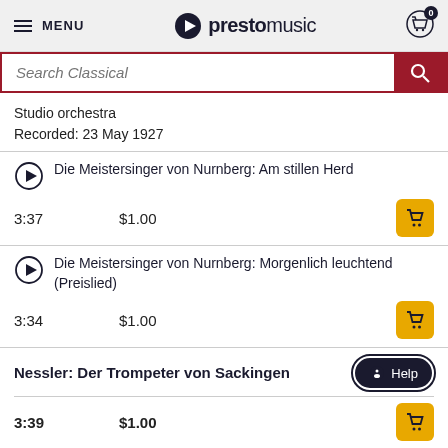MENU | prestomusic | 0 (cart)
Search Classical
Studio orchestra
Recorded: 23 May 1927
Die Meistersinger von Nurnberg: Am stillen Herd
3:37   $1.00
Die Meistersinger von Nurnberg: Morgenlich leuchtend (Preislied)
3:34   $1.00
Nessler: Der Trompeter von Sackingen
3:39   $1.00
Richard Tauber (tenor)